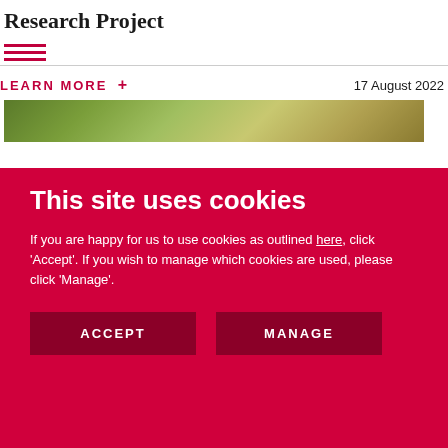Research Project
LEARN MORE +
17 August 2022
[Figure (photo): Outdoor nature/greenery photo strip, partially visible at top of cookie overlay]
This site uses cookies
If you are happy for us to use cookies as outlined here, click ‘Accept’. If you wish to manage which cookies are used, please click ‘Manage’.
ACCEPT
MANAGE